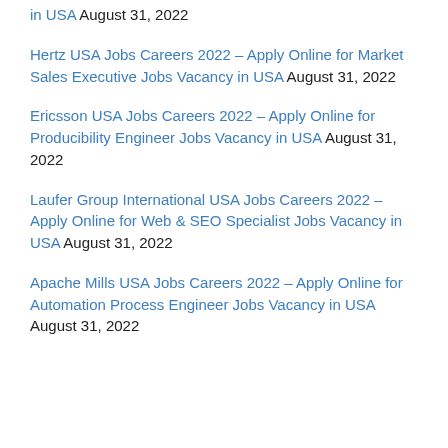in USA August 31, 2022
Hertz USA Jobs Careers 2022 – Apply Online for Market Sales Executive Jobs Vacancy in USA August 31, 2022
Ericsson USA Jobs Careers 2022 – Apply Online for Producibility Engineer Jobs Vacancy in USA August 31, 2022
Laufer Group International USA Jobs Careers 2022 – Apply Online for Web & SEO Specialist Jobs Vacancy in USA August 31, 2022
Apache Mills USA Jobs Careers 2022 – Apply Online for Automation Process Engineer Jobs Vacancy in USA August 31, 2022